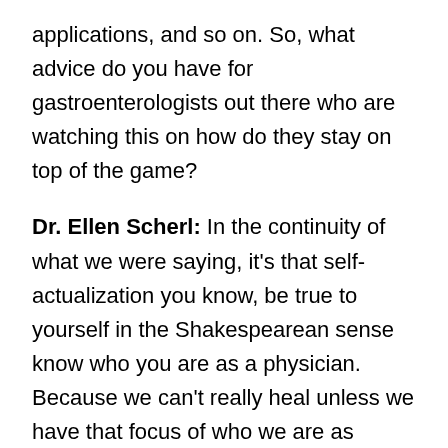applications, and so on. So, what advice do you have for gastroenterologists out there who are watching this on how do they stay on top of the game?
Dr. Ellen Scherl: In the continuity of what we were saying, it's that self-actualization you know, be true to yourself in the Shakespearean sense know who you are as a physician. Because we can't really heal unless we have that focus of who we are as defined by our important most important connections – family, friends, and then we widen it to our